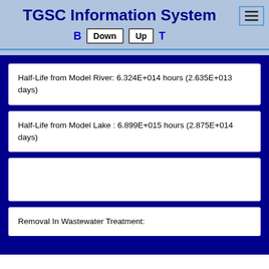TGSC Information System
Half-Life from Model River: 6.324E+014 hours (2.635E+013 days)
Half-Life from Model Lake : 6.899E+015 hours (2.875E+014 days)
Removal In Wastewater Treatment: